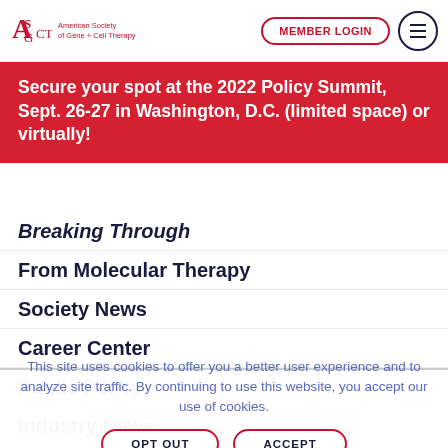American Society of Gene + Cell Therapy | MEMBER LOGIN
Secure your spot at the 2022 Policy Summit, Sept. 26-27 in Washington, D.C. (limited space) or virtually!
Breaking Through
From Molecular Therapy
Society News
Career Center
Public Policy
Industry News
This site uses cookies to offer you a better user experience and to analyze site traffic. By continuing to use this website, you accept our use of cookies.
OPT OUT | ACCEPT